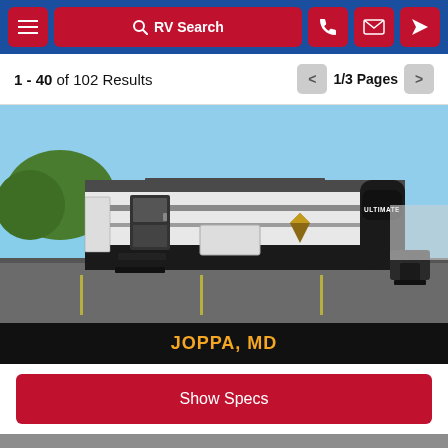RV Search navigation bar with menu, RV Search button, phone, email, and location icons
1 - 40 of 102 Results
1/3 Pages
[Figure (photo): White RV travel trailer with black accents and 'ULTIMATE' branding, parked in a lot. Steps extended from side door. Tongue jack and stabilizer visible.]
JOPPA, MD
Show Specs
[Figure (photo): Partial view of a second RV listing, gray exterior, with photo count badge showing 20]